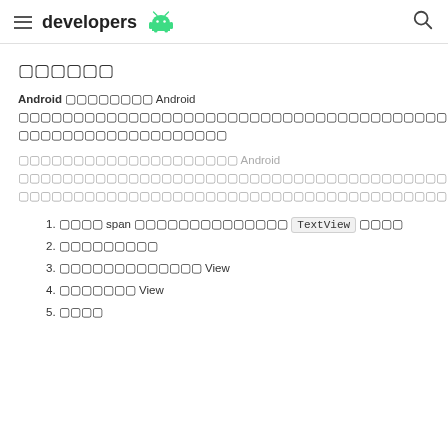developers
กกกกกก
Android กกกกกกกก Android กกกกกกกกกกกกกกกกกกกกกกกกกกกกกกกกกกกกกกกกกกกกกกกกกกกกกกกกกกกกกกกกก
กกกกกกกกกกกกกกกกกกกก Android กกกกกกกกกกกกกกกกกกกกกกกกกกกกกกกกกกกกกกกกกกกกกกกกกกกกกกกกกกกกกกกกกกกกกกกกกกกก
1. กกกก span กกกกกกกกกกกกกก TextView กกกก
2. กกกกกกกกก
3. กกกกกกกกกกกกก View
4. กกกกกกก View
5. กกกก